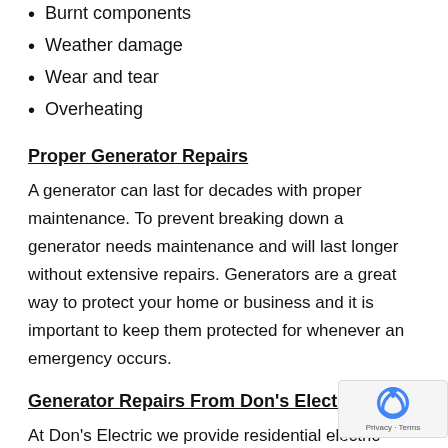Burnt components
Weather damage
Wear and tear
Overheating
Proper Generator Repairs
A generator can last for decades with proper maintenance. To prevent breaking down a generator needs maintenance and will last longer without extensive repairs. Generators are a great way to protect your home or business and it is important to keep them protected for whenever an emergency occurs.
Generator Repairs From Don's Electric
At Don's Electric we provide residential electric services, commercial electric services, backup generators and